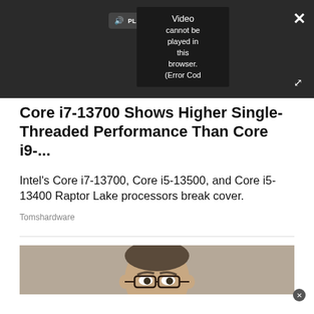[Figure (screenshot): Dark video player area showing a 'PLAY SOUND' button, a video error popup reading 'Video cannot be played in this browser. (Error Cod', an X close button in the top right corner, and an expand/fullscreen icon.]
Core i7-13700 Shows Higher Single-Threaded Performance Than Core i9-...
Intel's Core i7-13700, Core i5-13500, and Core i5-13400 Raptor Lake processors break cover.
Tomshardware
[Figure (photo): Photo of a man with a shaved head peeking over his glasses against a taupe/brown background, cropped at the lower portion of the page.]